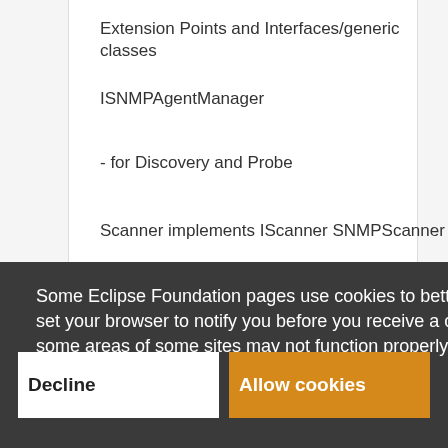Extension Points and Interfaces/generic classes
ISNMPAgentManager
- for Discovery and Probe
Scanner implements IScanner SNMPScanner
Some Eclipse Foundation pages use cookies to better serve you when you return to the site. You can set your browser to notify you before you receive a cookie or turn off cookies. If you do so, however, some areas of some sites may not function properly. To read Eclipse Foundation Privacy Policy click here.
Decline
Allow cookies
demonstrate the Aperi Extension capabilities the SVC